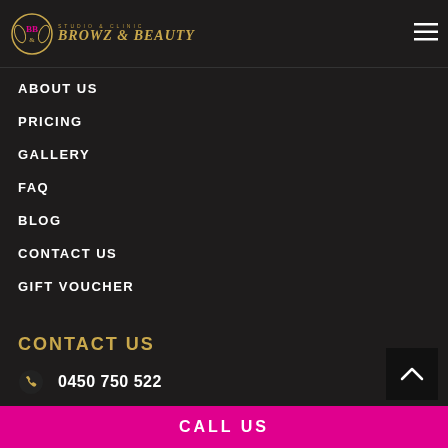BROWZ & BEAUTY
ABOUT US
PRICING
GALLERY
FAQ
BLOG
CONTACT US
GIFT VOUCHER
CONTACT US
0450 750 522
info@browzandbeautybyusha.com.au
CALL US